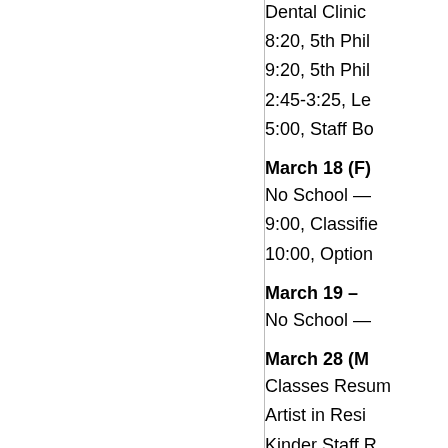Dental Clinic
8:20, 5th Phil
9:20, 5th Phil
2:45-3:25, Le
5:00, Staff Bo
March 18 (F)
No School —
9:00, Classifie
10:00, Option
March 19 –
No School —
March 28 (M
Classes Resum
Artist in Resi
Kinder Staff R
6:00-8:00, All
March 29 (T)